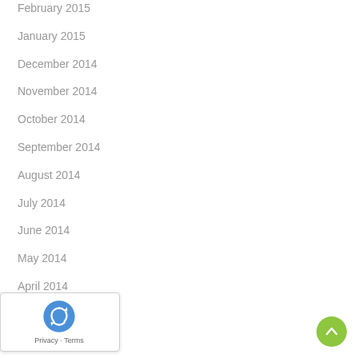February 2015
January 2015
December 2014
November 2014
October 2014
September 2014
August 2014
July 2014
June 2014
May 2014
April 2014
March 2014
January 2014
...er 2013
[Figure (logo): Google reCAPTCHA badge with logo and Privacy/Terms links]
[Figure (other): Green circular scroll-to-top button with upward chevron arrow]